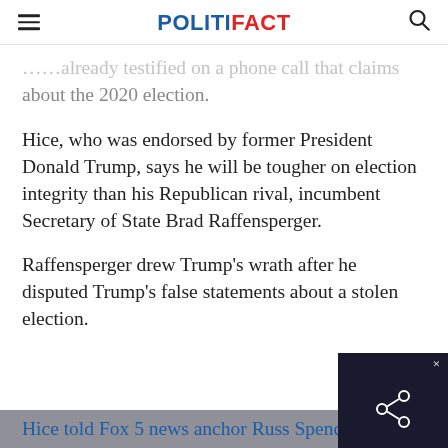POLITIFACT
…already testified on a phone call that claims about the 2020 election.
Hice, who was endorsed by former President Donald Trump, says he will be tougher on election integrity than his Republican rival, incumbent Secretary of State Brad Raffensperger.
Raffensperger drew Trump's wrath after he disputed Trump's false statements about a stolen election.
Hice told Fox 5 news anchor Russ Spencer on